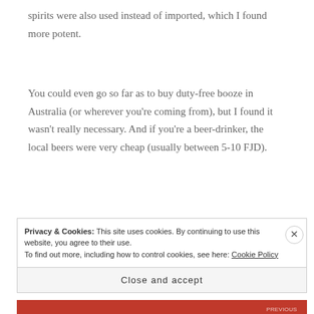spirits were also used instead of imported, which I found more potent.
You could even go so far as to buy duty-free booze in Australia (or wherever you're coming from), but I found it wasn't really necessary. And if you're a beer-drinker, the local beers were very cheap (usually between 5-10 FJD).
Privacy & Cookies: This site uses cookies. By continuing to use this website, you agree to their use. To find out more, including how to control cookies, see here: Cookie Policy
Close and accept